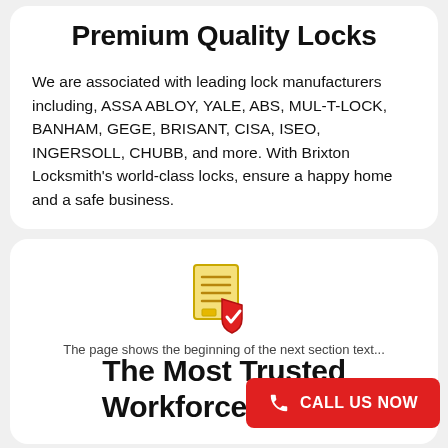Premium Quality Locks
We are associated with leading lock manufacturers including, ASSA ABLOY, YALE, ABS, MUL-T-LOCK,  BANHAM, GEGE, BRISANT, CISA, ISEO, INGERSOLL, CHUBB, and more. With Brixton Locksmith's world-class locks, ensure a happy home and a safe business.
[Figure (illustration): Icon of a document/checklist with a red shield and checkmark overlay]
The Most Trusted Workforce In Brixton
The page shows part of the text beginning at the bottom